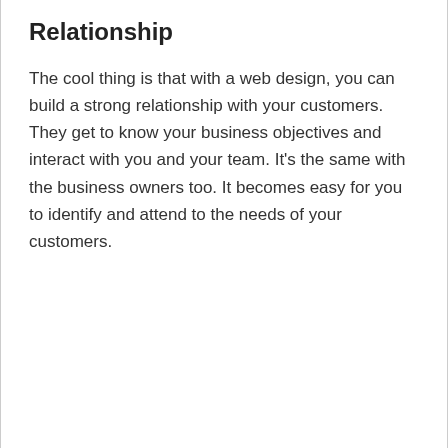Relationship
The cool thing is that with a web design, you can build a strong relationship with your customers. They get to know your business objectives and interact with you and your team. It’s the same with the business owners too. It becomes easy for you to identify and attend to the needs of your customers.